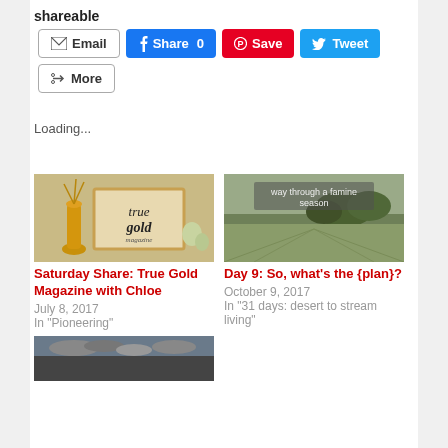shareable
[Figure (screenshot): Social sharing buttons: Email, Facebook Share 0, Pinterest Save, Twitter Tweet, and More]
Loading...
[Figure (photo): Image of true gold magazine with yellow vase]
Saturday Share: True Gold Magazine with Chloe
July 8, 2017
In "Pioneering"
[Figure (photo): Field landscape with text 'way through a famine season']
Day 9: So, what's the {plan}?
October 9, 2017
In "31 days: desert to stream living"
[Figure (photo): Dark stormy sky image at bottom]